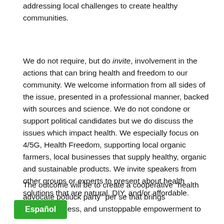addressing local challenges to create healthy communities.
We do not require, but do invite, involvement in the actions that can bring health and freedom to our community. We welcome information from all sides of the issue, presented in a professional manner, backed with sources and science. We do not condone or support political candidates but we do discuss the issues which impact health. We especially focus on 4/5G, Health Freedom, supporting local organic farmers, local businesses that supply healthy, organic and sustainable products. We invite speakers from other groups or experts to present about health solutions that are natural, DIY, and/or affordable.
The outcome will be to create a cooperative “health advocate potluck party” per se that brings education, ness, and unstoppable empowerment to tion nationwide.